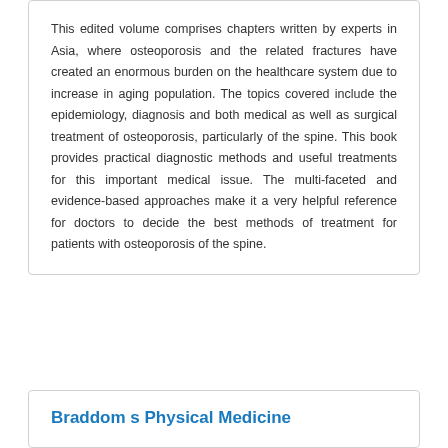This edited volume comprises chapters written by experts in Asia, where osteoporosis and the related fractures have created an enormous burden on the healthcare system due to increase in aging population. The topics covered include the epidemiology, diagnosis and both medical as well as surgical treatment of osteoporosis, particularly of the spine. This book provides practical diagnostic methods and useful treatments for this important medical issue. The multi-faceted and evidence-based approaches make it a very helpful reference for doctors to decide the best methods of treatment for patients with osteoporosis of the spine.
Braddom s Physical Medicine